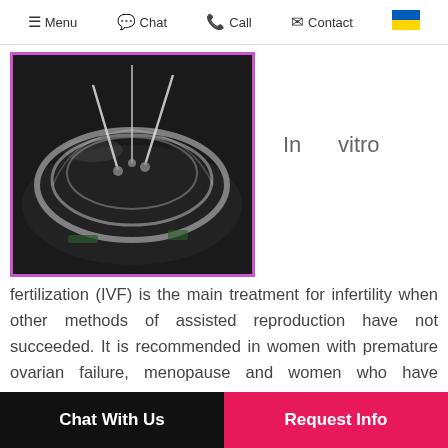☰ Menu  💬 Chat  📞 Call  ✉ Contact  🇺🇦
[Figure (photo): Close-up photograph of a petri dish used in IVF laboratory procedure, with needles visible, on a dark background. Bordered with purple/magenta frame.]
In vitro fertilization (IVF) is the main treatment for infertility when other methods of assisted reproduction have not succeeded. It is recommended in women with premature ovarian failure, menopause and women who have suffered partial or total loss of their fertility as in the case of chemotherapy and radiotherapy for cancer.
Chat With Us   Request Info